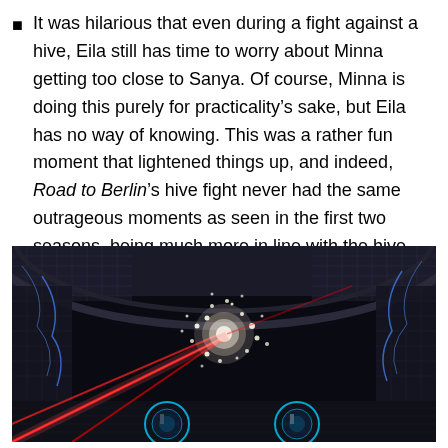It was hilarious that even during a fight against a hive, Eila still has time to worry about Minna getting too close to Sanya. Of course, Minna is doing this purely for practicality's sake, but Eila has no way of knowing. This was a rather fun moment that lightened things up, and indeed, Road to Berlin's hive fight never had the same outrageous moments as seen in the first two seasons, being much more in line with the hive fight seen in Brave Witches.
[Figure (photo): A dark scene from an animated series showing a hive fight with red laser beams, glowing white energy cluster in the center, and blue circular shields at the bottom, set inside a large cavernous structure.]